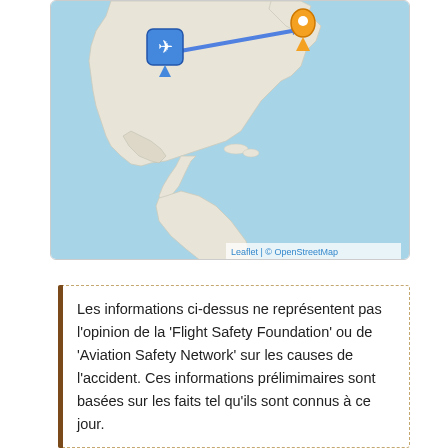[Figure (map): Interactive map showing North and South America with a blue ocean background. A blue arrow line connects two location markers: a blue airplane pin marker on the western coast of North America (around western Canada/US) and an orange/yellow pin marker in the northeastern US/Canada area. The map is attributed to Leaflet and OpenStreetMap.]
Leaflet | © OpenStreetMap
Les informations ci-dessus ne représentent pas l'opinion de la 'Flight Safety Foundation' ou de 'Aviation Safety Network' sur les causes de l'accident. Ces informations prélimimaires sont basées sur les faits tel qu'ils sont connus à ce jour.